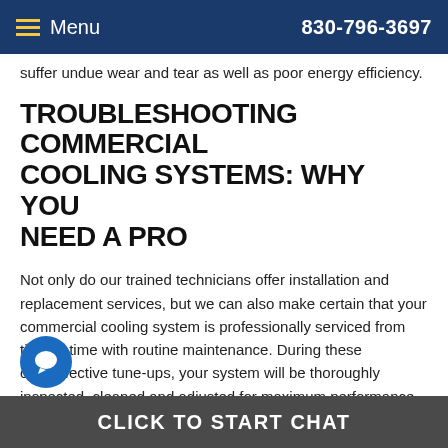Menu  830-796-3697
suffer undue wear and tear as well as poor energy efficiency.
TROUBLESHOOTING COMMERCIAL COOLING SYSTEMS: WHY YOU NEED A PRO
Not only do our trained technicians offer installation and replacement services, but we can also make certain that your commercial cooling system is professionally serviced from time to time with routine maintenance. During these cost-effective tune-ups, your system will be thoroughly inspected, cleaned and adjusted for maximum performance. As always, our techs are available for any repair needs that might arise with your system. Don't hesitate to reach out to our professionals for all of your commercial air conditioning repair needs in Boerne, TX.
CLICK TO START CHAT